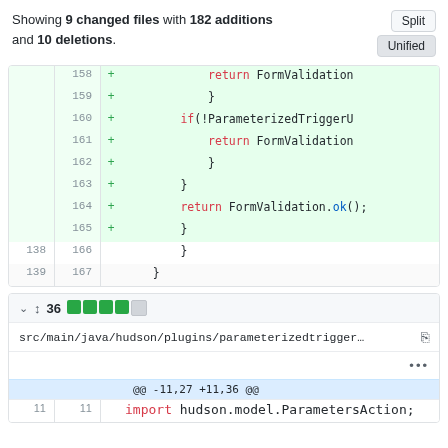Showing 9 changed files with 182 additions and 10 deletions.
[Figure (screenshot): GitHub diff view showing code changes with added lines 158-165 in green (return FormValidation, }, if(!ParameterizedTriggerU, return FormValidation, }, }, return FormValidation.ok();, }) and neutral lines 166-167 (}, })]
[Figure (screenshot): GitHub file header for src/main/java/hudson/plugins/parameterizedtrigger... showing 36 changes with 4 green stat blocks and 1 gray, followed by ellipsis and hunk header @@ -11,27 +11,36 @@ and import line 11: import hudson.model.ParametersAction;]